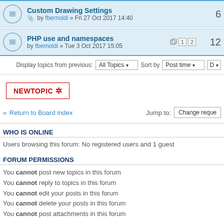Custom Drawing Settings by fbernoldi » Fri 27 Oct 2017 14:40 — replies: 6
PHP use and namespaces by fbernoldi » Tue 3 Oct 2017 15:05 — replies: 12
Display topics from previous: All Topics   Sort by Post time
NEWTOPIC *
« Return to Board index   Jump to: Change reque
WHO IS ONLINE
Users browsing this forum: No registered users and 1 guest
FORUM PERMISSIONS
You cannot post new topics in this forum
You cannot reply to topics in this forum
You cannot edit your posts in this forum
You cannot delete your posts in this forum
You cannot post attachments in this forum
Board index   The team • Delete a
Powered by phpBB® Forum Software © phpBB Gr